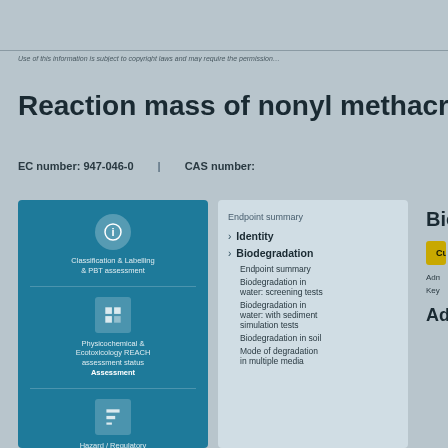Use of this information is subject to copyright laws and may require the permission…
Reaction mass of nonyl methacrylate and de…
EC number: 947-046-0 | CAS number:
[Figure (infographic): Blue panel with three icon blocks: identity/classification info, physicochemical & ecotoxicology REACH assessment, and hazard/regulatory info]
Endpoint summary
Identity
Biodegradation
Endpoint summary
Biodegradation in water: screening tests
Biodegradation in water: with sediment simulation tests
Biodegradation in soil
Mode of degradation in multiple media
Biodegrada…
Currently avail…
Administrative d…
Key value for che…
Administrat…